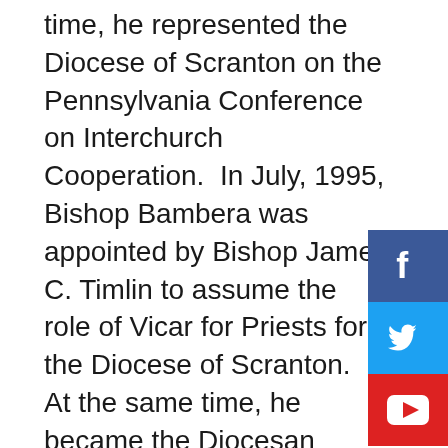time, he represented the Diocese of Scranton on the Pennsylvania Conference on Interchurch Cooperation.  In July, 1995, Bishop Bambera was appointed by Bishop James C. Timlin to assume the role of Vicar for Priests for the Diocese of Scranton.  At the same time, he became the Diocesan Director of Continuing Education for Priests.
[Figure (infographic): Social media share buttons sidebar: Facebook (blue), Twitter (light blue), YouTube (red)]
While serving in numerous Diocesan positions, Bishop Bambera was appointed Administrator and then Pastor of the Church of the Holy Name of Jesus, Scranton.  He served the parish from January, 1994 until July, 1997, at which time he assumed the role of Director of Formation at Saint Pius X...